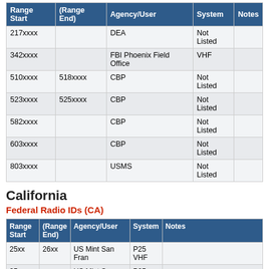| Range Start | (Range End) | Agency/User | System | Notes |
| --- | --- | --- | --- | --- |
| 217xxxx |  | DEA | Not Listed |  |
| 342xxxx |  | FBI Phoenix Field Office | VHF |  |
| 510xxxx | 518xxxx | CBP | Not Listed |  |
| 523xxxx | 525xxxx | CBP | Not Listed |  |
| 582xxxx |  | CBP | Not Listed |  |
| 603xxxx |  | CBP | Not Listed |  |
| 803xxxx |  | USMS | Not Listed |  |
California
Federal Radio IDs (CA)
| Range Start | (Range End) | Agency/User | System | Notes |
| --- | --- | --- | --- | --- |
| 25xx | 26xx | US Mint San Fran | P25 VHF |  |
| 35xx |  | US Mint San Fran | P25 VHF |  |
| 503xxx |  | Naval Support Activity | Not Listed |  |
| 219xxxx |  | DEA | VHF | Sacramento field office? Heard in Sac, w/ and w/out encryption |